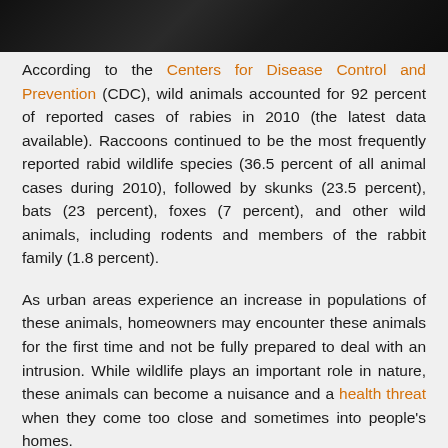[Figure (photo): Dark/black image strip at the top of the page, appears to be a partial photo of a dark animal or background]
According to the Centers for Disease Control and Prevention (CDC), wild animals accounted for 92 percent of reported cases of rabies in 2010 (the latest data available). Raccoons continued to be the most frequently reported rabid wildlife species (36.5 percent of all animal cases during 2010), followed by skunks (23.5 percent), bats (23 percent), foxes (7 percent), and other wild animals, including rodents and members of the rabbit family (1.8 percent).
As urban areas experience an increase in populations of these animals, homeowners may encounter these animals for the first time and not be fully prepared to deal with an intrusion. While wildlife plays an important role in nature, these animals can become a nuisance and a health threat when they come too close and sometimes into people's homes.
During the cooler months, wild animals are more apt to wander closer to human environments as they search for food and shelter. Some homes, more than others will be more inviting to these animals. Homes that are located near wildlife habitats such as forest preserves, parks, golf courses, rivers or creeks, railroad tracks, and vacant buildings and have a presence of mature trees in the yard or